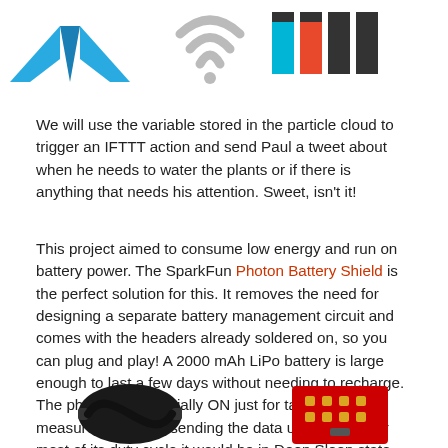[Figure (illustration): Three logos in a row: Particle (blue chevron/arrow logo), a WiFi signal icon in gray, and IFTTT logo in teal/orange/black block letters]
We will use the variable stored in the particle cloud to trigger an IFTTT action and send Paul a tweet about when he needs to water the plants or if there is anything that needs his attention. Sweet, isn't it!
This project aimed to consume low energy and run on battery power. The SparkFun Photon Battery Shield is the perfect solution for this. It removes the need for designing a separate battery management circuit and comes with the headers already soldered on, so you can plug and play! A 2000 mAh LiPo battery is large enough to last a few days without needing to recharge. The photon is essentially ON just for taking measurements and sending the data up to phant; for most of its duty cycle it would be in Deep Sleep state. See the logged test data on our channel's data plots here.
[Figure (photo): Two product photos at the bottom: a black cable/connector on the left and a red SparkFun PCB board on the right]